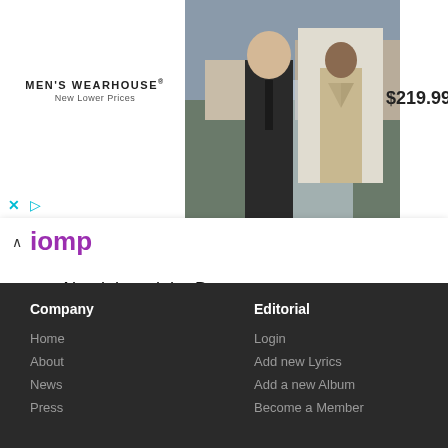[Figure (photo): Men's Wearhouse advertisement banner with a couple in formalwear, a man in a suit with price $219.99]
iomp
Akeelah and the Bee  2006
Entourage
The Longest Yard  2005
P.C.U.
Snowpiercer
Company
Editorial
Home
Login
About
Add new Lyrics
News
Add a new Album
Press
Become a Member